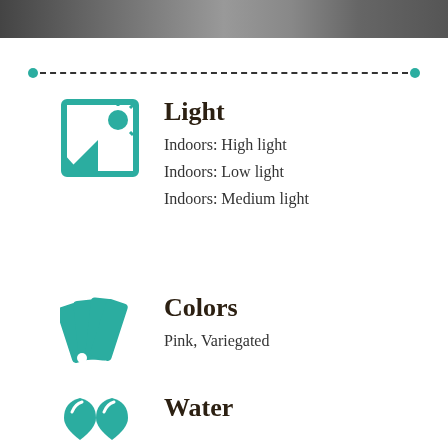[Figure (photo): Partial photo strip at top of page showing people/objects, cropped]
[Figure (illustration): Teal/turquoise icon of a window with sun rays, representing light]
Light
Indoors: High light
Indoors: Low light
Indoors: Medium light
[Figure (illustration): Teal/turquoise icon of paint color swatches fanned out, representing colors]
Colors
Pink, Variegated
[Figure (illustration): Teal/turquoise icon of water drops, representing water]
Water